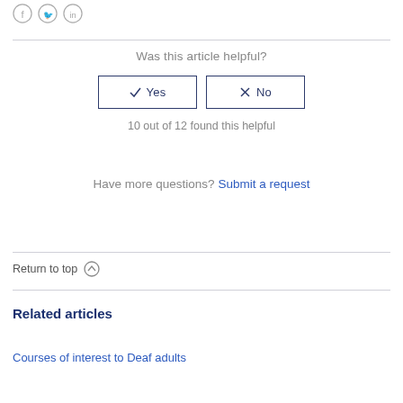[Figure (illustration): Social media share icons: Facebook (f), Twitter (bird), LinkedIn (in) in grey circles]
Was this article helpful?
✓ Yes | ✗ No (vote buttons)
10 out of 12 found this helpful
Have more questions? Submit a request
Return to top ↑
Related articles
Courses of interest to Deaf adults